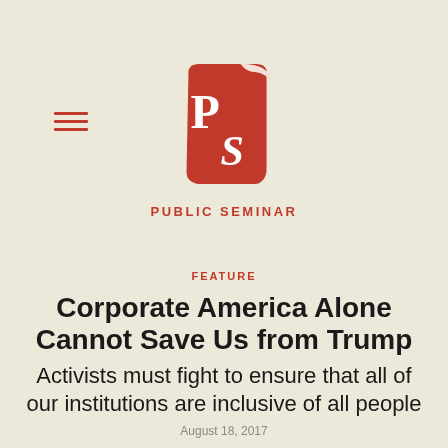[Figure (logo): Public Seminar logo: red scroll/book shape with white letters P and S]
PUBLIC SEMINAR
FEATURE
Corporate America Alone Cannot Save Us from Trump
Activists must fight to ensure that all of our institutions are inclusive of all people
August 18, 2017